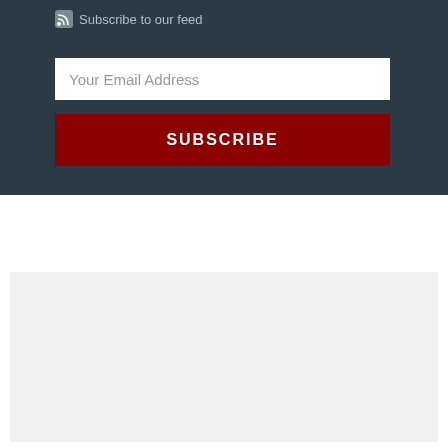Subscribe to our feed
Your Email Address
SUBSCRIBE
[Figure (infographic): ISBA Books advertisement banner. Shows two book covers for mediation books (Lang and Calkins Mediation Practice Guide, and The Practical Psychology of Mediation). Text reads: ILLINOIS STATE BAR ASSOCIATION ISBA Books. New and Updated Mediation Books NOW AVAILABLE!]